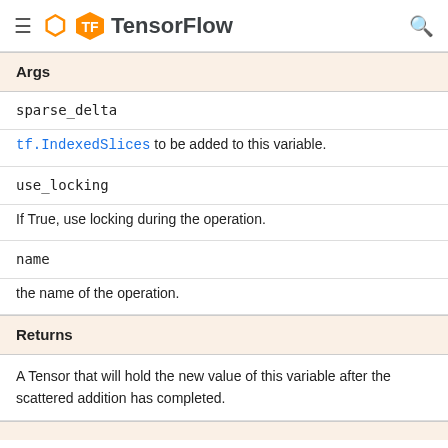TensorFlow
Args
sparse_delta
tf.IndexedSlices to be added to this variable.
use_locking
If True, use locking during the operation.
name
the name of the operation.
Returns
A Tensor that will hold the new value of this variable after the scattered addition has completed.